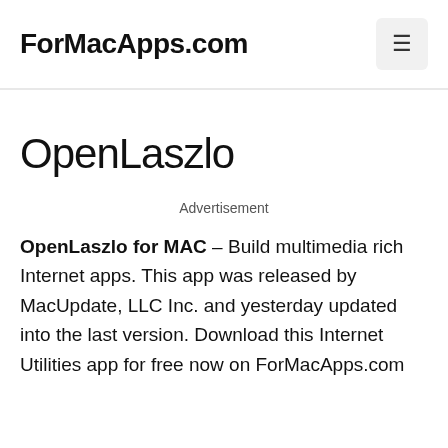ForMacApps.com
OpenLaszlo
Advertisement
OpenLaszlo for MAC – Build multimedia rich Internet apps. This app was released by MacUpdate, LLC Inc. and yesterday updated into the last version. Download this Internet Utilities app for free now on ForMacApps.com